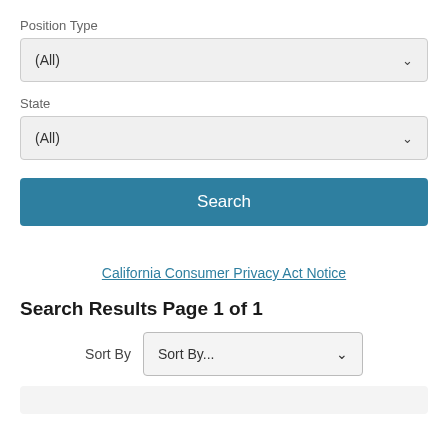Position Type
(All)
State
(All)
Search
California Consumer Privacy Act Notice
Search Results Page 1 of 1
Sort By
Sort By...